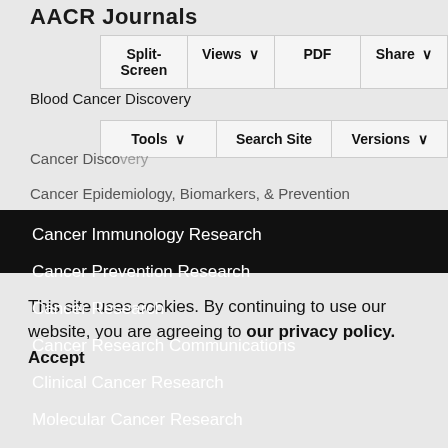AACR Journals
Split-Screen
Views
PDF
Share
Blood Cancer Discovery
Tools
Search Site
Versions
Cancer Discovery
Cancer Epidemiology, Biomarkers, & Prevention
Cancer Immunology Research
Cancer Prevention Research
Cancer Research
Cancer Research Communications
Clinical Cancer Research
Molecular Cancer Research
Molecular Cancer Therapeutics
This site uses cookies. By continuing to use our website, you are agreeing to our privacy policy. Accept